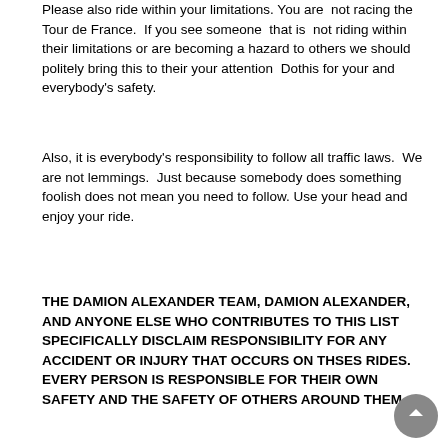Please also ride within your limitations. You are not racing the Tour de France.  If you see someone  that is  not riding within their limitations or are becoming a hazard to others we should politely bring this to their your attention  Dothis for your and everybody's safety.
Also, it is everybody's responsibility to follow all traffic laws.  We are not lemmings.  Just because somebody does something foolish does not mean you need to follow.  Use your head and enjoy your ride.
THE DAMION ALEXANDER TEAM, DAMION ALEXANDER, AND ANYONE ELSE WHO CONTRIBUTES TO THIS LIST SPECIFICALLY DISCLAIM RESPONSIBILITY FOR ANY ACCIDENT OR INJURY THAT OCCURS ON THSES RIDES.  EVERY PERSON IS RESPONSIBLE FOR THEIR OWN SAFETY AND THE SAFETY OF OTHERS AROUND THEM